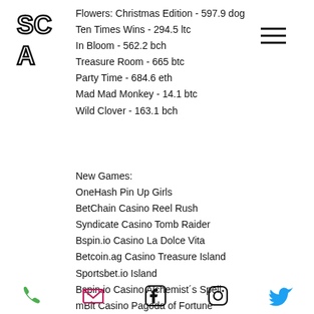[Figure (logo): SCA stylized letter logo in athletic/varsity font]
Flowers: Christmas Edition - 597.9 dog
Ten Times Wins - 294.5 ltc
In Bloom - 562.2 bch
Treasure Room - 665 btc
Party Time - 684.6 eth
Mad Mad Monkey - 14.1 btc
Wild Clover - 163.1 bch
New Games:
OneHash Pin Up Girls
BetChain Casino Reel Rush
Syndicate Casino Tomb Raider
Bspin.io Casino La Dolce Vita
Betcoin.ag Casino Treasure Island
Sportsbet.io Island
Bspin.io Casino Alchemist´s Spell
mBit Casino Pagoda of Fortune
Mars Casino Gold Star
phone | email | facebook | instagram | twitter icons